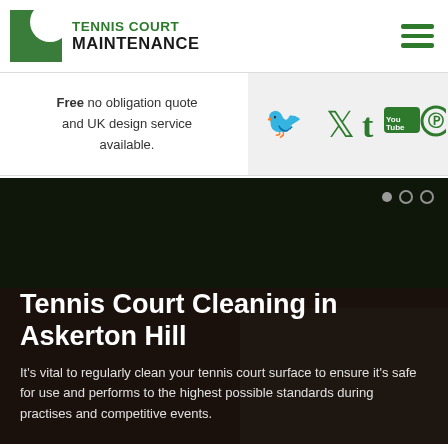[Figure (logo): Tennis Court Maintenance logo: green square icon with white arc, followed by text TENNIS COURT MAINTENANCE]
[Figure (infographic): Hamburger menu icon (three green horizontal lines)]
Free no obligation quote and UK design service available.
[Figure (infographic): Social media icons: Twitter (bird), Tumblr (t), YouTube (You Tube box), Pinterest (P circle) — all in green]
[Figure (photo): Background photo of a tennis court being cleaned, with trees in the background. Dark overlay applied. Overlay text: Tennis Court Cleaning in Askerton Hill followed by descriptive paragraph.]
Tennis Court Cleaning in Askerton Hill
It's vital to regularly clean your tennis court surface to ensure it's safe for use and performs to the highest possible standards during practises and competitive events.